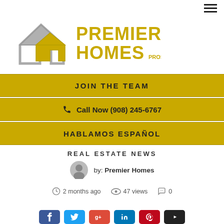[Figure (logo): Premier Homes Pros logo with gold and silver house icon and gold text]
JOIN THE TEAM
Call Now (908) 245-6767
HABLAMOS ESPAÑOL
REAL ESTATE NEWS
by: Premier Homes
2 months ago   47 views   0
[Figure (illustration): Social media share buttons: Facebook, Twitter, Google+, LinkedIn, Pinterest, and one more]